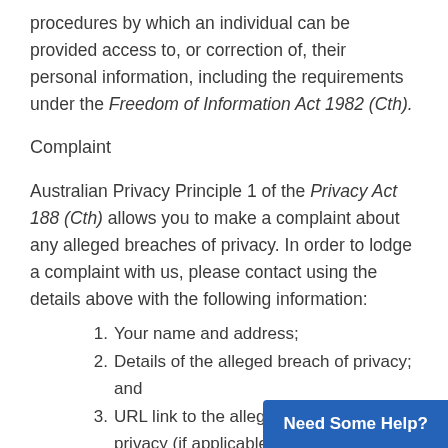procedures by which an individual can be provided access to, or correction of, their personal information, including the requirements under the Freedom of Information Act 1982 (Cth).
Complaint
Australian Privacy Principle 1 of the Privacy Act 188 (Cth) allows you to make a complaint about any alleged breaches of privacy. In order to lodge a complaint with us, please contact using the details above with the following information:
1. Your name and address;
2. Details of the alleged breach of privacy; and
3. URL link to the alleged breach of privacy (if applicable).